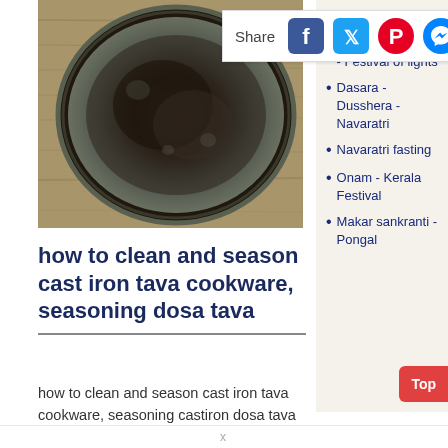[Figure (photo): Close-up photo of a cast iron tava (griddle), dark colored with a metallic rim, viewed from above]
[Figure (infographic): Share bar with Facebook, Twitter, Pinterest, and Messenger social media icons]
how to clean and season cast iron tava cookware, seasoning dosa tava
how to clean and season cast iron tava cookware, seasoning castiron dosa tava
Recipes
Diwali - Deepavali - Festival of lights
Dasara - Dusshera - Navaratri
Navaratri fasting
Onam - Kerala Festival
Makar sankranti - Pongal
x